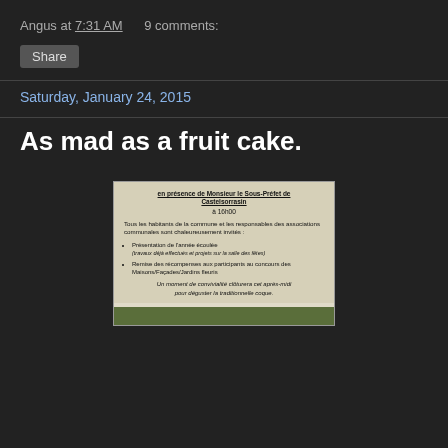Angus at 7:31 AM   9 comments:
Share
Saturday, January 24, 2015
As mad as a fruit cake.
[Figure (photo): A photo of a printed French-language community notice/flyer with text: 'en présence de Monsieur le Sous-Préfet de Castelsorrasin à 16h00. Tous les habitants de la commune et les responsables des associations communales sont chaleureusement invités : Présentation de l'année écoulée (travaux déjà effectués et projets sur la salle des fêtes), Remise des récompenses aux participants au concours des Maisons/Façades/Jardins fleuris. Un moment de convivialité clôturera cet après-midi pour déguster la traditionnelle coque.']